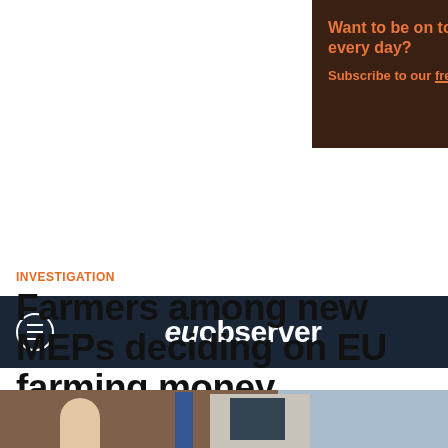[Figure (other): EUobserver advertisement banner: dark brown background with orange bold text 'Want to be on top of EU news every day?' and 'Subscribe to our free newsletter', with vertical 'euobserver' text on right sidebar]
euobserver
NEWS / HEADLINE NEWS
INVESTIGATION
Farmers among new MEPs deciding on EU farming money
[Figure (photo): Street-level photo showing brick and light-colored buildings with a blue EU flag, a person visible in foreground]